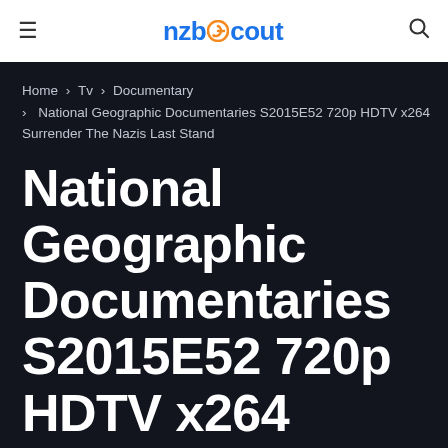nzbScout
Home > Tv > Documentary > National Geographic Documentaries S2015E52 720p HDTV x264 Surrender The Nazis Last Stand
National Geographic Documentaries S2015E52 720p HDTV x264 Surrender The Nazis Last Stand